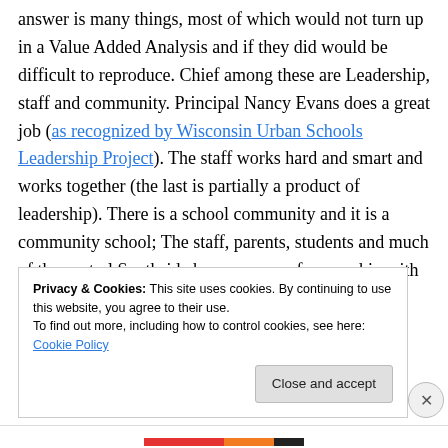answer is many things, most of which would not turn up in a Value Added Analysis and if they did would be difficult to reproduce. Chief among these are Leadership, staff and community. Principal Nancy Evans does a great job (as recognized by Wisconsin Urban Schools Leadership Project). The staff works hard and smart and works together (the last is partially a product of leadership). There is a school community and it is a community school; The staff, parents, students and much of the central Southside have a sense of ownership with Wright (this is [cut off]
Privacy & Cookies: This site uses cookies. By continuing to use this website, you agree to their use. To find out more, including how to control cookies, see here: Cookie Policy